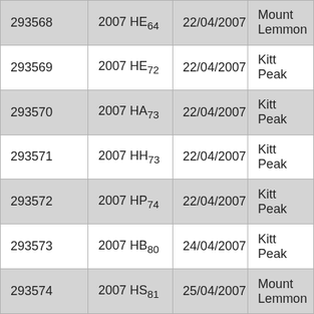| 293568 | 2007 HE64 | 22/04/2007 | Mount Lemmon |
| 293569 | 2007 HE72 | 22/04/2007 | Kitt Peak |
| 293570 | 2007 HA73 | 22/04/2007 | Kitt Peak |
| 293571 | 2007 HH73 | 22/04/2007 | Kitt Peak |
| 293572 | 2007 HP74 | 22/04/2007 | Kitt Peak |
| 293573 | 2007 HB80 | 24/04/2007 | Kitt Peak |
| 293574 | 2007 HS81 | 25/04/2007 | Mount Lemmon |